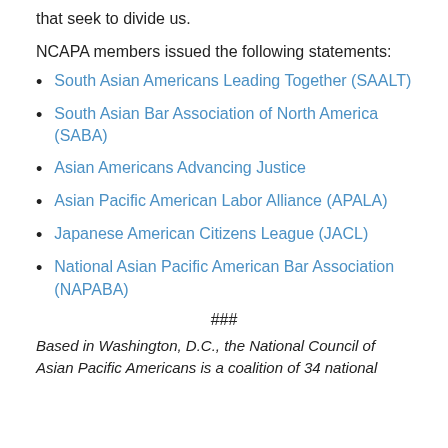that seek to divide us.
NCAPA members issued the following statements:
South Asian Americans Leading Together (SAALT)
South Asian Bar Association of North America (SABA)
Asian Americans Advancing Justice
Asian Pacific American Labor Alliance (APALA)
Japanese American Citizens League (JACL)
National Asian Pacific American Bar Association (NAPABA)
###
Based in Washington, D.C., the National Council of Asian Pacific Americans is a coalition of 34 national